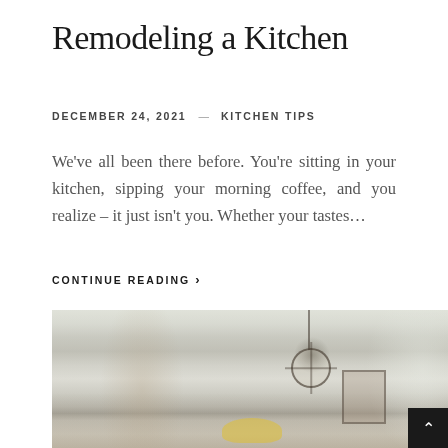Remodeling a Kitchen
DECEMBER 24, 2021  —  KITCHEN TIPS
We've all been there before. You're sitting in your kitchen, sipping your morning coffee, and you realize – it just isn't you. Whether your tastes…
CONTINUE READING ›
[Figure (photo): Interior photo of a bright white kitchen/dining area with an arched doorway on the left, a pendant globe light fixture hanging from the ceiling, a framed picture on the wall, tall windows on the right letting in natural light, and yellow flowers on the table in the foreground.]